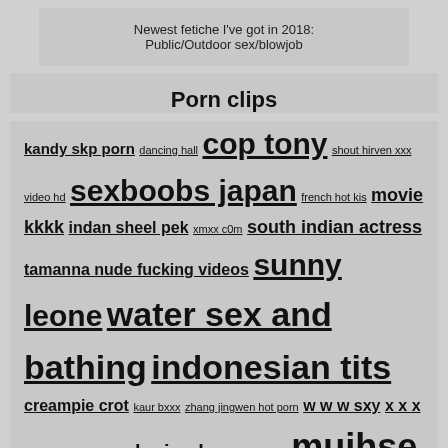Newest fetiche I've got in 2018: Public/Outdoor sex/blowjob
Porn clips
kandy skp porn dancing hall cop tony shout hirven xxx video hd sexboobs japan french hot kis movie kkkk indan sheel pek xmxx c0m south indian actress tamanna nude fucking videos sunny leone water sex and bathing indonesian tits creampie crot kaur bxxx zhang jingwen hot porn w w w sxy x x x kate blask xxx damce luvian ben red chyan mujhse juda hokar mom drie
Copyright 2022, porn7gifs.com
DMCA & Content removal